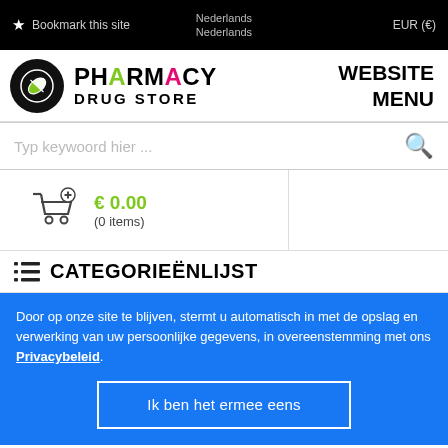Bookmark this site | Nederlands | EUR (€)
[Figure (logo): Pharmacy Drug Store logo with pill icon]
WEBSITE MENU
Typ keywoord hier ...
€ 0.00 (0 items)
CATEGORIEËNLIJST
Door op onze site te blijven, stermt u automatisch in met de opslag en verwerking van uw persoonlijke gegevens, in overeenstemming met ons Privacybeleid.
Ik ben het ermee eens